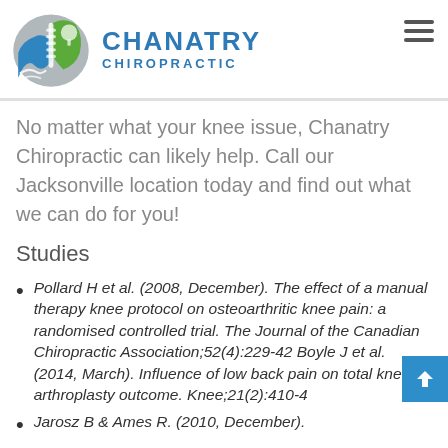[Figure (logo): Chanatry Chiropractic logo with spine, tree and wave motif in blue and green circle, beside text 'CHANATRY CHIROPRACTIC' in blue]
No matter what your knee issue, Chanatry Chiropractic can likely help. Call our Jacksonville location today and find out what we can do for you!
Studies
Pollard H et al. (2008, December). The effect of a manual therapy knee protocol on osteoarthritic knee pain: a randomised controlled trial. The Journal of the Canadian Chiropractic Association;52(4):229-42 Boyle J et al. (2014, March). Influence of low back pain on total knee arthroplasty outcome. Knee;21(2):410-4
Jarosz B & Ames R. (2010, December).